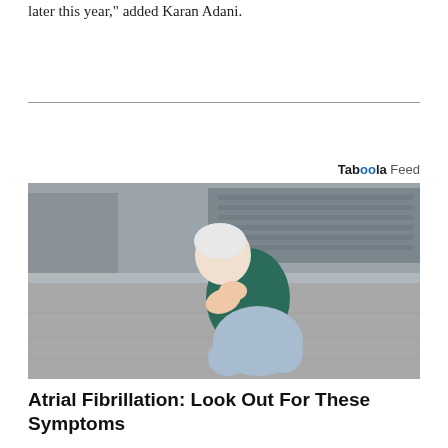later this year," added Karan Adani.
[Figure (photo): Elderly woman with white hair clutching her chest in pain, bent forward, outdoors on a paved area with a building in the background.]
Atrial Fibrillation: Look Out For These Symptoms